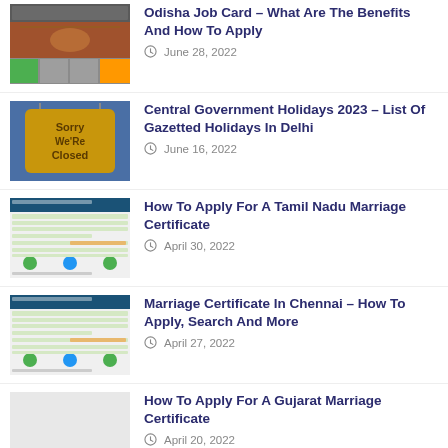Odisha Job Card – What Are The Benefits And How To Apply
June 28, 2022
Central Government Holidays 2023 – List Of Gazetted Holidays In Delhi
June 16, 2022
How To Apply For A Tamil Nadu Marriage Certificate
April 30, 2022
Marriage Certificate In Chennai – How To Apply, Search And More
April 27, 2022
How To Apply For A Gujarat Marriage Certificate
April 20, 2022
5 Challan Pune – The A To Z Of Paying